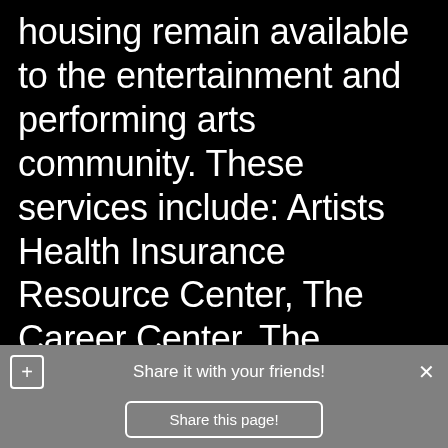housing remain available to the entertainment and performing arts community. These services include: Artists Health Insurance Resource Center, The Career Center, The Dancers' Resource, Housing Resources, Addiction & Recovery, HIV/AIDS, Women's
Share it with your friends!
Share this page!